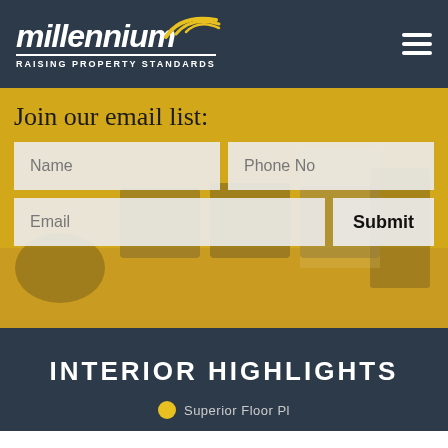[Figure (logo): Millennium 'Raising Property Standards' logo with yellow swoosh on dark navy background, plus hamburger menu icon]
Join our email list:
[Figure (photo): Gym/fitness room interior with treadmills and exercise equipment, yellow-tinted overlay]
INTERIOR HIGHLIGHTS
Superior Floor Pl...